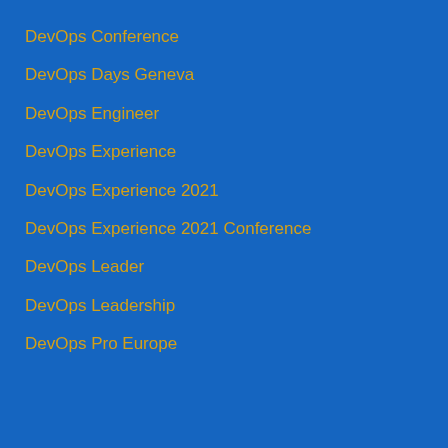DevOps Conference
DevOps Days Geneva
DevOps Engineer
DevOps Experience
DevOps Experience 2021
DevOps Experience 2021 Conference
DevOps Leader
DevOps Leadership
DevOps Pro Europe